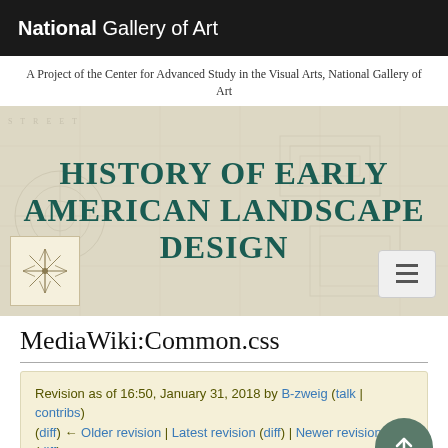National Gallery of Art
A Project of the Center for Advanced Study in the Visual Arts, National Gallery of Art
HISTORY OF EARLY AMERICAN LANDSCAPE DESIGN
[Figure (logo): Compass rose / starburst logo on beige/cream square background]
MediaWiki:Common.css
Revision as of 16:50, January 31, 2018 by B-zweig (talk | contribs)
(diff) ← Older revision | Latest revision (diff) | Newer revision → (diff)